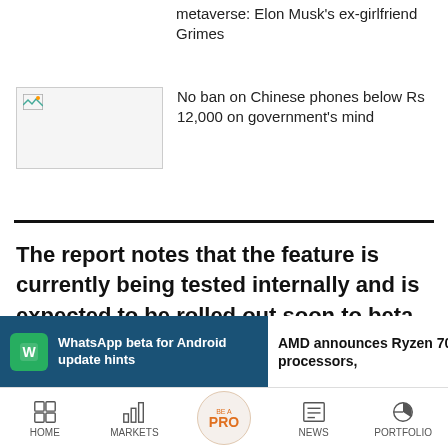metaverse: Elon Musk's ex-girlfriend Grimes
[Figure (photo): Thumbnail image placeholder for second news article]
No ban on Chinese phones below Rs 12,000 on government's mind
The report notes that the feature is currently being tested internally and is expected to be rolled out soon to beta users, followed by a stable release for the public.
WhatsApp beta for Android update hints
AMD announces Ryzen 7000 series processors,
HOME  MARKETS  BE A PRO  NEWS  PORTFOLIO